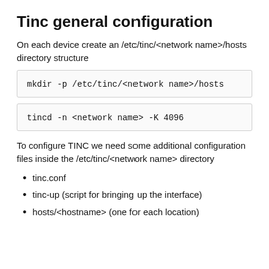Tinc general configuration
On each device create an /etc/tinc/<network name>/hosts directory structure
To configure TINC we need some additional configuration files inside the /etc/tinc/<network name> directory
tinc.conf
tinc-up (script for bringing up the interface)
hosts/<hostname> (one for each location)